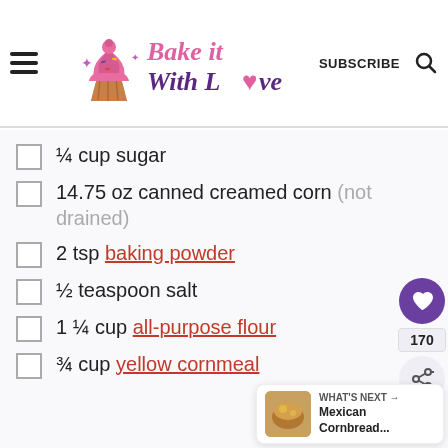Bake it With Love | SUBSCRIBE
¼ cup sugar
14.75 oz canned creamed corn (not drained)
2 tsp baking powder
½ teaspoon salt
1 ¼ cup all-purpose flour
¾ cup yellow cornmeal